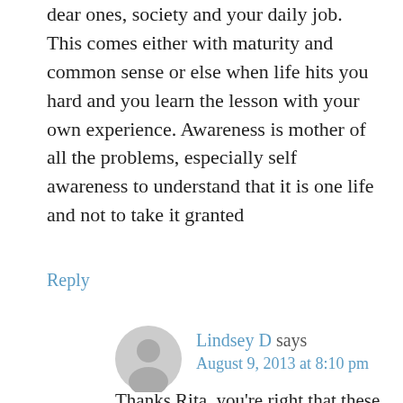dear ones, society and your daily job. This comes either with maturity and common sense or else when life hits you hard and you learn the lesson with your own experience. Awareness is mother of all the problems, especially self awareness to understand that it is one life and not to take it granted
Reply
[Figure (illustration): Gray circular avatar placeholder icon showing a generic person silhouette]
Lindsey D says
August 9, 2013 at 8:10 pm
Thanks Rita, you're right that these lessons are learned through maturity or the hard way.